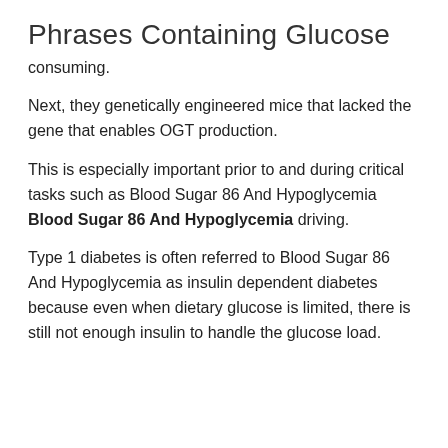Phrases Containing Glucose
consuming.
Next, they genetically engineered mice that lacked the gene that enables OGT production.
This is especially important prior to and during critical tasks such as Blood Sugar 86 And Hypoglycemia Blood Sugar 86 And Hypoglycemia driving.
Type 1 diabetes is often referred to Blood Sugar 86 And Hypoglycemia as insulin dependent diabetes because even when dietary glucose is limited, there is still not enough insulin to handle the glucose load.